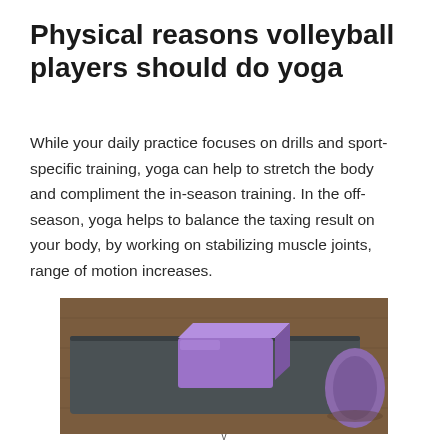Physical reasons volleyball players should do yoga
While your daily practice focuses on drills and sport-specific training, yoga can help to stretch the body and compliment the in-season training. In the off-season, yoga helps to balance the taxing result on your body, by working on stabilizing muscle joints, range of motion increases.
[Figure (photo): A dark grey yoga mat laid flat with a purple foam yoga block resting on top of it, and a rolled purple yoga mat partially visible on the right side, on a wooden surface.]